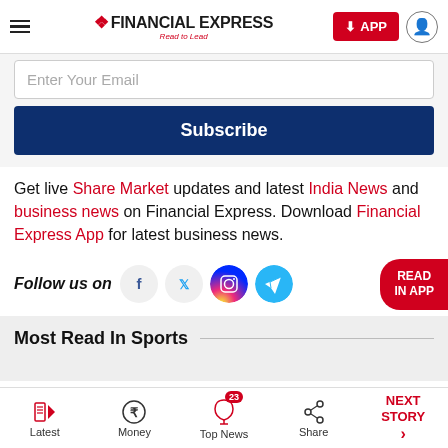FINANCIAL EXPRESS — Read to Lead | APP button | User icon
Enter Your Email
Subscribe
Get live Share Market updates and latest India News and business news on Financial Express. Download Financial Express App for latest business news.
Follow us on
[Figure (infographic): Social media icons: Facebook, Twitter, Instagram, Telegram]
READ IN APP
Most Read In Sports
Latest | Money | Top News (23) | Share | NEXT STORY